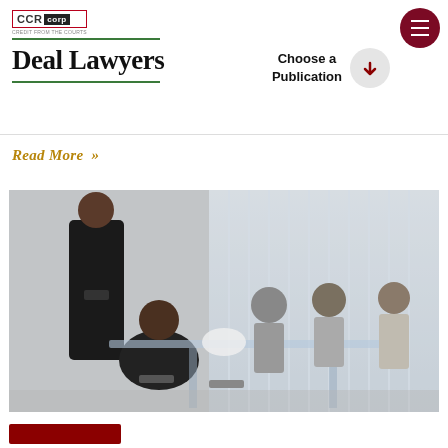[Figure (logo): CCR Corp logo in top left]
Deal Lawyers
Choose a Publication
Read More »
[Figure (photo): Business meeting: people seated around a glass conference table, one person standing holding a phone, view through glass partition]
[Figure (other): Dark red rectangular button at bottom]